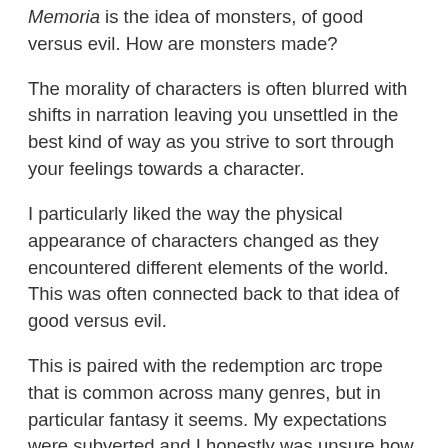Memoria is the idea of monsters, of good versus evil. How are monsters made?
The morality of characters is often blurred with shifts in narration leaving you unsettled in the best kind of way as you strive to sort through your feelings towards a character.
I particularly liked the way the physical appearance of characters changed as they encountered different elements of the world. This was often connected back to that idea of good versus evil.
This is paired with the redemption arc trope that is common across many genres, but in particular fantasy it seems. My expectations were subverted and I honestly was unsure how characters would develop. This was refreshing and kept me turning the pages!